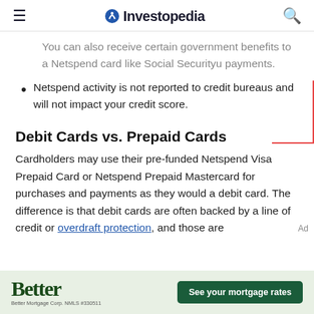Investopedia
You can also receive certain government benefits to a Netspend card like Social Securityu payments.
Netspend activity is not reported to credit bureaus and will not impact your credit score.
Debit Cards vs. Prepaid Cards
Cardholders may use their pre-funded Netspend Visa Prepaid Card or Netspend Prepaid Mastercard for purchases and payments as they would a debit card. The difference is that debit cards are often backed by a line of credit or overdraft protection, and those are
[Figure (other): Better Mortgage advertisement banner with text 'Better' and button 'See your mortgage rates']